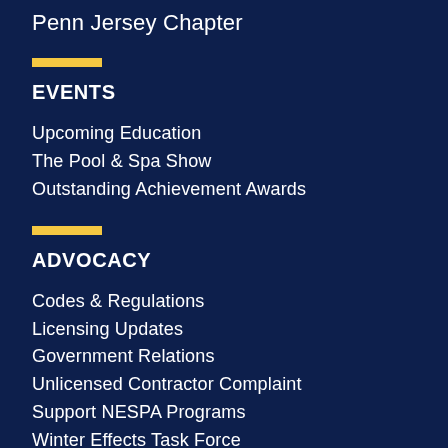Penn Jersey Chapter
EVENTS
Upcoming Education
The Pool & Spa Show
Outstanding Achievement Awards
ADVOCACY
Codes & Regulations
Licensing Updates
Government Relations
Unlicensed Contractor Complaint
Support NESPA Programs
Winter Effects Task Force